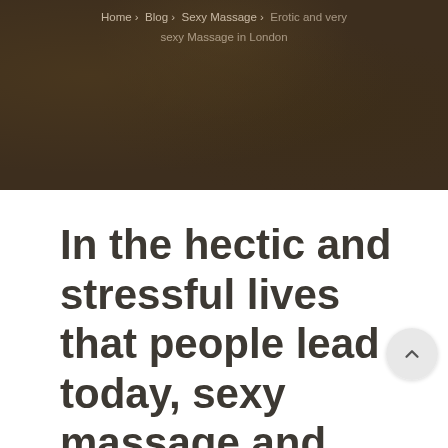Home > Blog > Sexy Massage > Erotic and very sexy Massage in London
In the hectic and stressful lives that people lead today, sexy massage and erotic massages in London are...